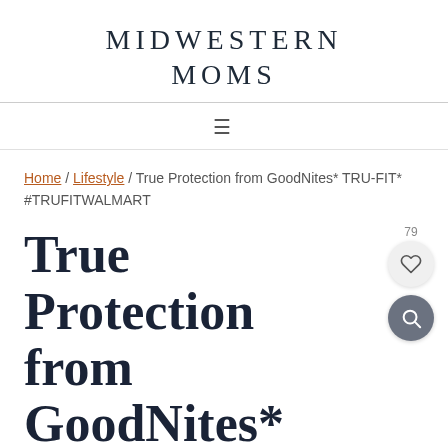MIDWESTERN MOMS
≡
Home / Lifestyle / True Protection from GoodNites* TRU-FIT* #TRUFITWALMART
True Protection from GoodNites*
TRU-FIT*